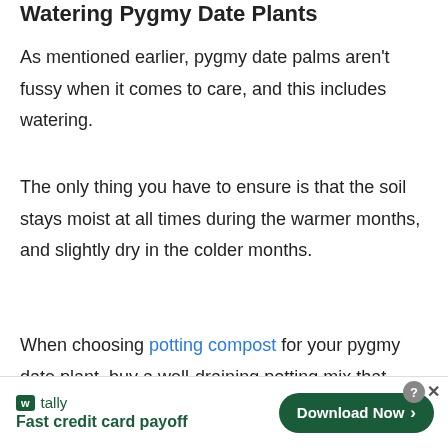Watering Pygmy Date Plants
As mentioned earlier, pygmy date palms aren't fussy when it comes to care, and this includes watering.
The only thing you have to ensure is that the soil stays moist at all times during the warmer months, and slightly dry in the colder months.
When choosing potting compost for your pygmy date plant, buy a well-draining potting mix that
[Figure (other): Tally app advertisement banner with 'Fast credit card payoff' tagline and Download Now button]